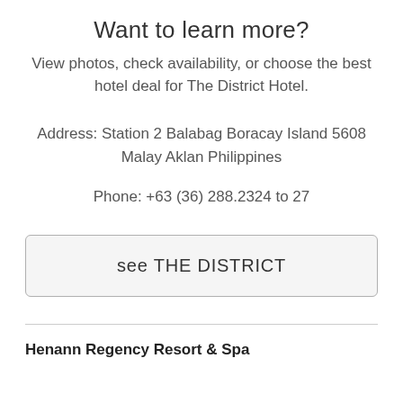Want to learn more?
View photos, check availability, or choose the best hotel deal for The District Hotel.
Address: Station 2 Balabag Boracay Island 5608 Malay Aklan Philippines
Phone: +63 (36) 288.2324 to 27
see THE DISTRICT
Henann Regency Resort & Spa